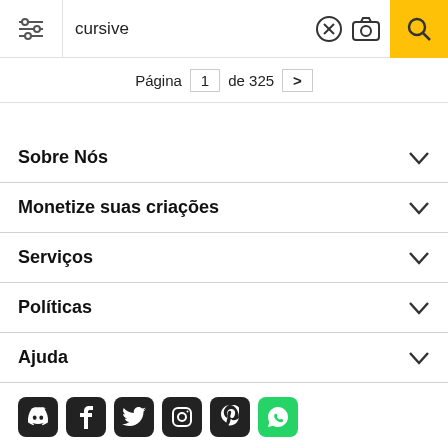cursive — Página 1 de 325
Sobre Nós
Monetize suas criações
Serviços
Políticas
Ajuda
[Figure (other): Social media icons row: Discord, Facebook, Twitter, Instagram, Pinterest, WhatsApp]
Todos os direitos reservados. © Inmagine Lab Pte Ltd 2022.